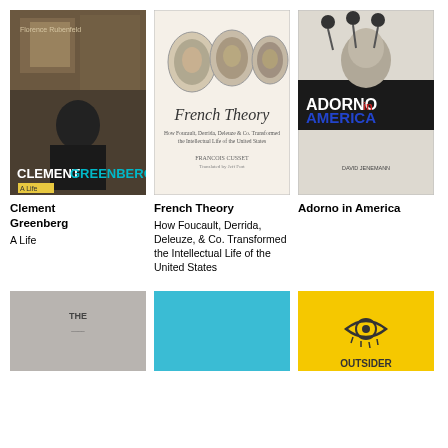[Figure (illustration): Book cover: Clement Greenberg A Life - dark photo of a man against a building, with author name Florence Rubenfeld]
[Figure (illustration): Book cover: French Theory - How Foucault, Derrida, Deleuze & Co. Transformed the Intellectual Life of the United States, white cover with portrait photos]
[Figure (illustration): Book cover: Adorno in America - black and white design with upside-down face and text ADORNO and AMERICA]
Clement Greenberg
A Life
French Theory
How Foucault, Derrida, Deleuze, & Co. Transformed the Intellectual Life of the United States
Adorno in America
[Figure (illustration): Book cover: gray cover with 'THE' text - partially visible]
[Figure (illustration): Book cover: bright teal/turquoise solid color - partially visible]
[Figure (illustration): Book cover: yellow cover with eye illustration and text OUTSIDER - partially visible]